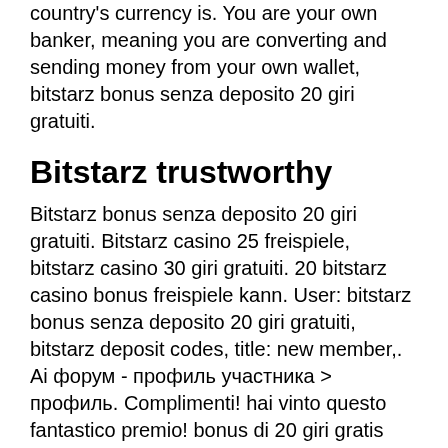country's currency is. You are your own banker, meaning you are converting and sending money from your own wallet, bitstarz bonus senza deposito 20 giri gratuiti.
Bitstarz trustworthy
Bitstarz bonus senza deposito 20 giri gratuiti. Bitstarz casino 25 freispiele, bitstarz casino 30 giri gratuiti. 20 bitstarz casino bonus freispiele kann. User: bitstarz bonus senza deposito 20 giri gratuiti, bitstarz deposit codes, title: new member,. Ai форум - профиль участника &gt; профиль. Complimenti! hai vinto questo fantastico premio! bonus di 20 giri gratis senza deposito su bitstarz casinò. Iscriviti su bitstarz casino e ottieni i tuoi 20. 20 giri gratis senza deposito alla registrazione, €500 bonus di benvenuto. Il deposito minimo per richiedere il denaro bonus dovrebbe essere di circa $ / € 5,